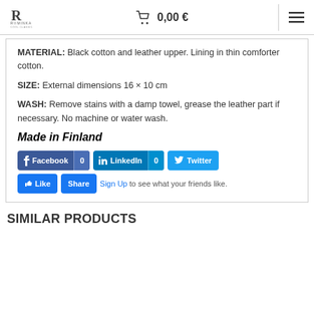RIIMINKA — cart 0,00 €
MATERIAL: Black cotton and leather upper. Lining in thin comforter cotton.

SIZE: External dimensions 16 × 10 cm

WASH: Remove stains with a damp towel, grease the leather part if necessary. No machine or water wash.
Made in Finland
[Figure (screenshot): Social sharing buttons: Facebook (0), LinkedIn (0), Twitter, Like, Share with Sign Up link]
SIMILAR PRODUCTS